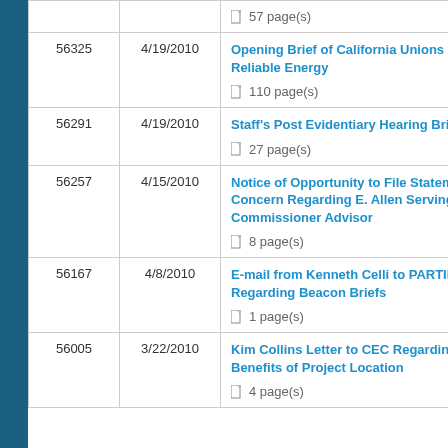| # | Date | Description |
| --- | --- | --- |
|  |  | 57 page(s) |
| 56325 | 4/19/2010 | Opening Brief of California Unions for Reliable Energy
110 page(s) |
| 56291 | 4/19/2010 | Staff's Post Evidentiary Hearing Brief
27 page(s) |
| 56257 | 4/15/2010 | Notice of Opportunity to File Statements of Concern Regarding E. Allen Serving as a Commissioner Advisor
8 page(s) |
| 56167 | 4/8/2010 | E-mail from Kenneth Celli to PARTIES Regarding Beacon Briefs
1 page(s) |
| 56005 | 3/22/2010 | Kim Collins Letter to CEC Regarding Benefits of Project Location
4 page(s) |